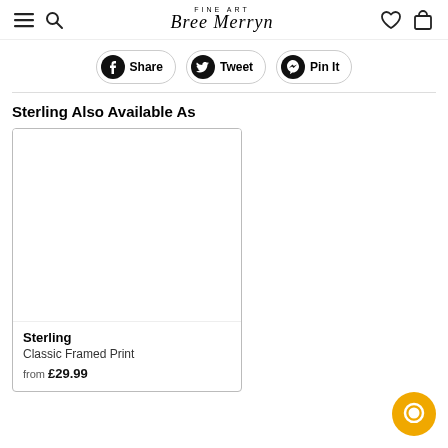Bree Merryn Fine Art
Share | Tweet | Pin It
Sterling Also Available As
[Figure (other): Product card for Sterling Classic Framed Print, white bordered frame image area, with title Sterling, subtitle Classic Framed Print, price from £29.99]
Sterling
Classic Framed Print
from £29.99